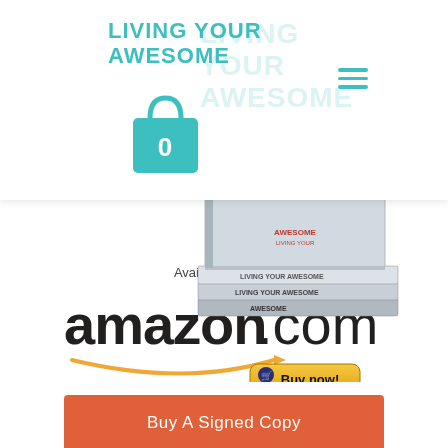LIVING YOUR AWESOME
[Figure (screenshot): Website screenshot showing a book cover titled 'Living Your Awesome' with a teal shopping bag icon showing 0 items, hamburger menu icon, and faded background text of the title]
[Figure (photo): Stack of physical books titled 'Living Your Awesome']
[Figure (logo): Amazon.com logo with 'Available Now on' text above and a 'Buy now!' button below]
Available Now on
[Figure (other): Buy now button with cart icon]
Buy A Signed Copy